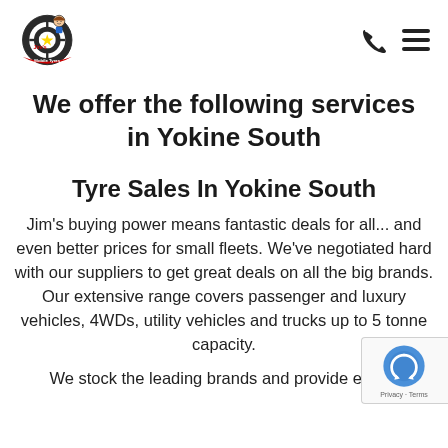Jim's Mobile Tyres — navigation header
We offer the following services in Yokine South
Tyre Sales In Yokine South
Jim's buying power means fantastic deals for all... and even better prices for small fleets. We've negotiated hard with our suppliers to get great deals on all the big brands. Our extensive range covers passenger and luxury vehicles, 4WDs, utility vehicles and trucks up to 5 tonne capacity.
We stock the leading brands and provide expert